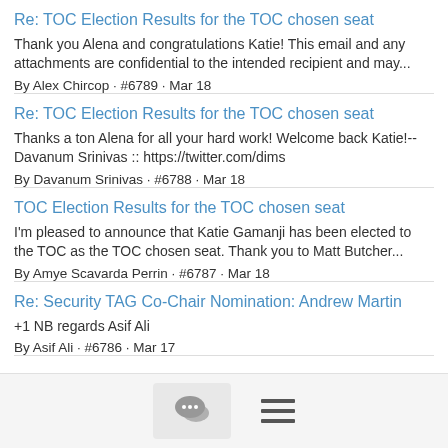Re: TOC Election Results for the TOC chosen seat
Thank you Alena and congratulations Katie! This email and any attachments are confidential to the intended recipient and may...
By Alex Chircop · #6789 · Mar 18
Re: TOC Election Results for the TOC chosen seat
Thanks a ton Alena for all your hard work! Welcome back Katie!-- Davanum Srinivas :: https://twitter.com/dims
By Davanum Srinivas · #6788 · Mar 18
TOC Election Results for the TOC chosen seat
I'm pleased to announce that Katie Gamanji has been elected to the TOC as the TOC chosen seat. Thank you to Matt Butcher...
By Amye Scavarda Perrin · #6787 · Mar 18
Re: Security TAG Co-Chair Nomination: Andrew Martin
+1 NB regards Asif Ali
By Asif Ali · #6786 · Mar 17
[Figure (screenshot): Bottom navigation bar with chat bubble icon in a grey box and hamburger menu icon]